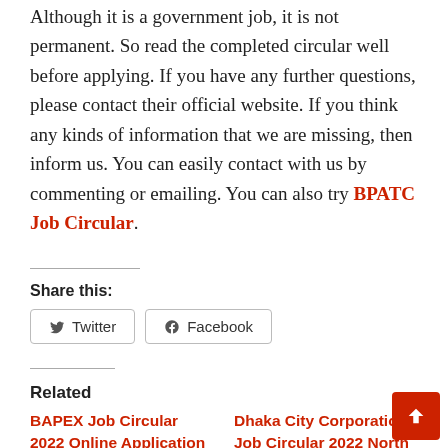Although it is a government job, it is not permanent. So read the completed circular well before applying. If you have any further questions, please contact their official website. If you think any kinds of information that we are missing, then inform us. You can easily contact with us by commenting or emailing. You can also try BPATC Job Circular.
Share this:
Twitter | Facebook
Related
BAPEX Job Circular 2022 Online Application Has been Start
Dhaka City Corporation Job Circular 2022 North & South
June 22, 2022
September 4, 2021